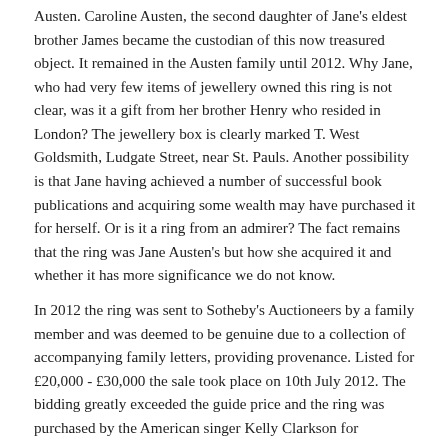Austen. Caroline Austen, the second daughter of Jane's eldest brother James became the custodian of this now treasured object. It remained in the Austen family until 2012. Why Jane, who had very few items of jewellery owned this ring is not clear, was it a gift from her brother Henry who resided in London? The jewellery box is clearly marked T. West Goldsmith, Ludgate Street, near St. Pauls. Another possibility is that Jane having achieved a number of successful book publications and acquiring some wealth may have purchased it for herself. Or is it a ring from an admirer? The fact remains that the ring was Jane Austen's but how she acquired it and whether it has more significance we do not know.
In 2012 the ring was sent to Sotheby's Auctioneers by a family member and was deemed to be genuine due to a collection of accompanying family letters, providing provenance. Listed for £20,000 - £30,000 the sale took place on 10th July 2012. The bidding greatly exceeded the guide price and the ring was purchased by the American singer Kelly Clarkson for